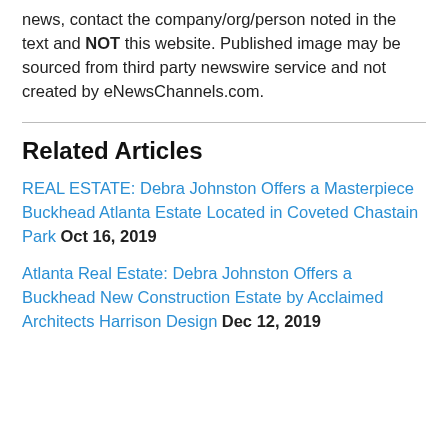news, contact the company/org/person noted in the text and NOT this website. Published image may be sourced from third party newswire service and not created by eNewsChannels.com.
Related Articles
REAL ESTATE: Debra Johnston Offers a Masterpiece Buckhead Atlanta Estate Located in Coveted Chastain Park Oct 16, 2019
Atlanta Real Estate: Debra Johnston Offers a Buckhead New Construction Estate by Acclaimed Architects Harrison Design Dec 12, 2019